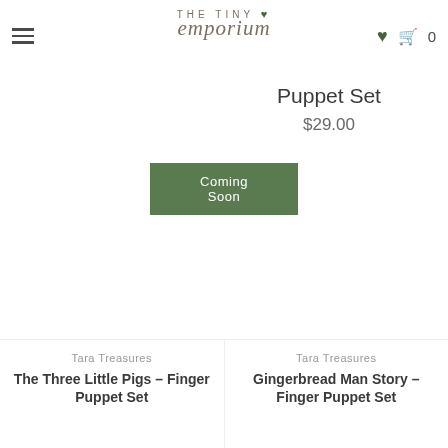[Figure (logo): The Tiny Emporium logo with hamburger menu icon on the left, heart and cart icons with count 0 on the right]
Puppet Set
$29.00
Coming Soon
Tara Treasures
The Three Little Pigs - Finger Puppet Set
Tara Treasures
Gingerbread Man Story - Finger Puppet Set